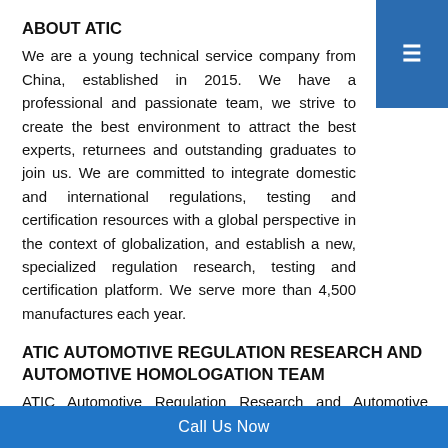ABOUT ATIC
We are a young technical service company from China, established in 2015. We have a professional and passionate team, we strive to create the best environment to attract the best experts, returnees and outstanding graduates to join us. We are committed to integrate domestic and international regulations, testing and certification resources with a global perspective in the context of globalization, and establish a new, specialized regulation research, testing and certification platform. We serve more than 4,500 manufactures each year.
ATIC AUTOMOTIVE REGULATION RESEARCH AND AUTOMOTIVE HOMOLOGATION TEAM
ATIC Automotive Regulation Research and Automotive Homologation Team is dedicated to global automotive regulation research, homologation procedure research and homologation
Call Us Now